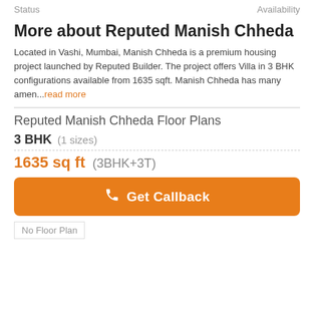Status   Availability
More about Reputed Manish Chheda
Located in Vashi, Mumbai, Manish Chheda is a premium housing project launched by Reputed Builder. The project offers Villa in 3 BHK configurations available from 1635 sqft. Manish Chheda has many amen...read more
Reputed Manish Chheda Floor Plans
3 BHK (1 sizes)
1635 sq ft (3BHK+3T)
Get Callback
No Floor Plan